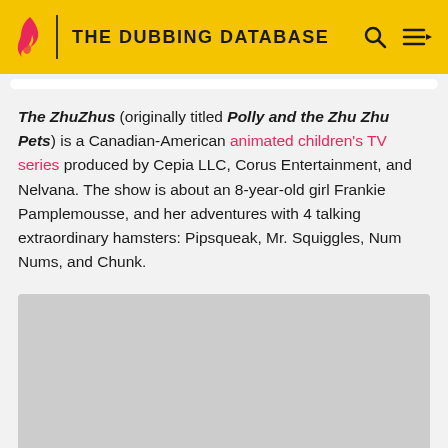THE DUBBING DATABASE
The ZhuZhus (originally titled Polly and the Zhu Zhu Pets) is a Canadian-American animated children's TV series produced by Cepia LLC, Corus Entertainment, and Nelvana. The show is about an 8-year-old girl Frankie Pamplemousse, and her adventures with 4 talking extraordinary hamsters: Pipsqueak, Mr. Squiggles, Num Nums, and Chunk.
[Figure (photo): Gray placeholder image area]